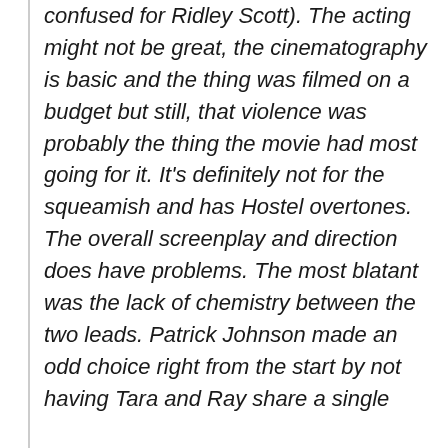confused for Ridley Scott). The acting might not be great, the cinematography is basic and the thing was filmed on a budget but still, that violence was probably the thing the movie had most going for it. It's definitely not for the squeamish and has Hostel overtones. The overall screenplay and direction does have problems. The most blatant was the lack of chemistry between the two leads. Patrick Johnson made an odd choice right from the start by not having Tara and Ray share a single